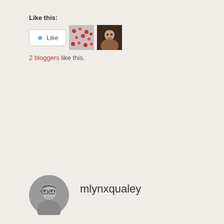Like this:
[Figure (screenshot): Like button with star icon and two blogger avatar thumbnails]
2 bloggers like this.
[Figure (photo): Circular avatar photo of mlynxqualey — black and white photo of a person with glasses]
mlynxqualey
2 thoughts on “See English PEN-winning
Advertisements
[Figure (screenshot): Macy's advertisement banner: KISS BORING LIPS GOODBYE with a close-up of red lips, SHOP NOW button and macys star logo]